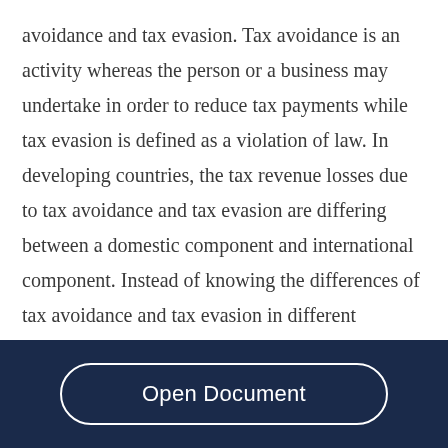avoidance and tax evasion. Tax avoidance is an activity whereas the person or a business may undertake in order to reduce tax payments while tax evasion is defined as a violation of law. In developing countries, the tax revenue losses due to tax avoidance and tax evasion are differing between a domestic component and international component. Instead of knowing the differences of tax avoidance and tax evasion in different components, the most important things that need to
Open Document